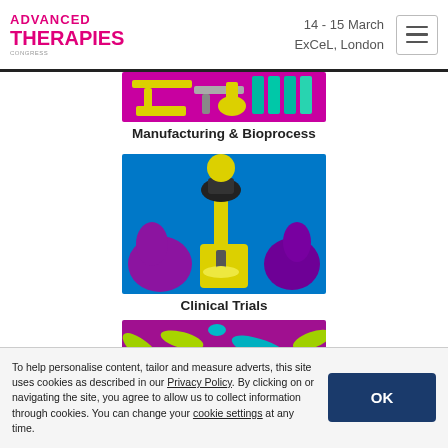ADVANCED THERAPIES — 14 - 15 March, ExCeL, London
[Figure (illustration): Colorful pop-art style illustration of laboratory manufacturing and bioprocess equipment (tubes, vials, purple accents, yellow and teal elements)]
Manufacturing & Bioprocess
[Figure (illustration): Pop-art style illustration of a person using a microscope, yellow and purple colors on blue background]
Clinical Trials
[Figure (illustration): Colorful pop-art style illustration of bacteria/microorganisms — teal and yellow-green rod shapes on a purple background]
To help personalise content, tailor and measure adverts, this site uses cookies as described in our Privacy Policy. By clicking on or navigating the site, you agree to allow us to collect information through cookies. You can change your cookie settings at any time.